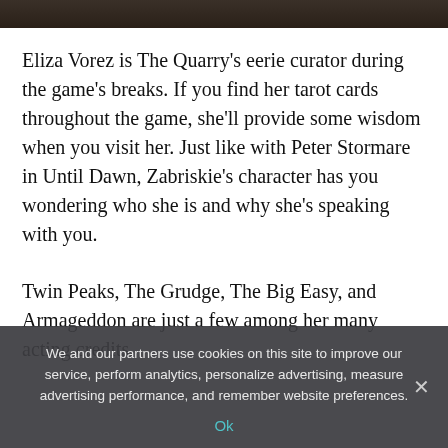[Figure (photo): Dark image strip at the top of the page showing a partial view of a person or scene, cropped to a thin horizontal band.]
Eliza Vorez is The Quarry's eerie curator during the game's breaks. If you find her tarot cards throughout the game, she'll provide some wisdom when you visit her. Just like with Peter Stormare in Until Dawn, Zabriskie's character has you wondering who she is and why she's speaking with you.
Twin Peaks, The Grudge, The Big Easy, and Armageddon are just a few among her many acting credits.
We and our partners use cookies on this site to improve our service, perform analytics, personalize advertising, measure advertising performance, and remember website preferences.
Ok